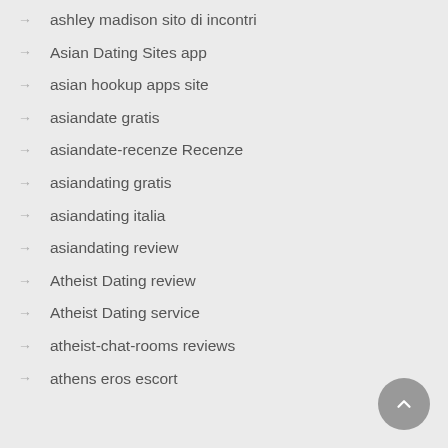ashley madison sito di incontri
Asian Dating Sites app
asian hookup apps site
asiandate gratis
asiandate-recenze Recenze
asiandating gratis
asiandating italia
asiandating review
Atheist Dating review
Atheist Dating service
atheist-chat-rooms reviews
athens eros escort